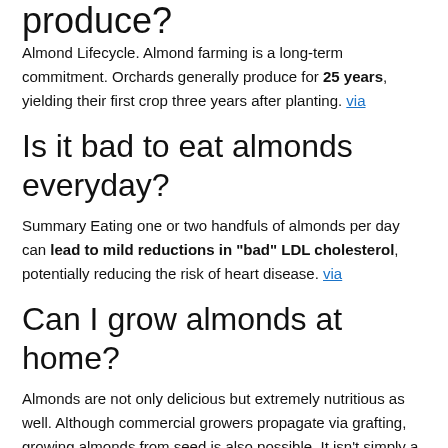produce?
Almond Lifecycle. Almond farming is a long-term commitment. Orchards generally produce for 25 years, yielding their first crop three years after planting. via
Is it bad to eat almonds everyday?
Summary Eating one or two handfuls of almonds per day can lead to mild reductions in "bad" LDL cholesterol, potentially reducing the risk of heart disease. via
Can I grow almonds at home?
Almonds are not only delicious but extremely nutritious as well. Although commercial growers propagate via grafting, growing almonds from seed is also possible. It isn't simply a matter of planting cracked almond nuts, however. via